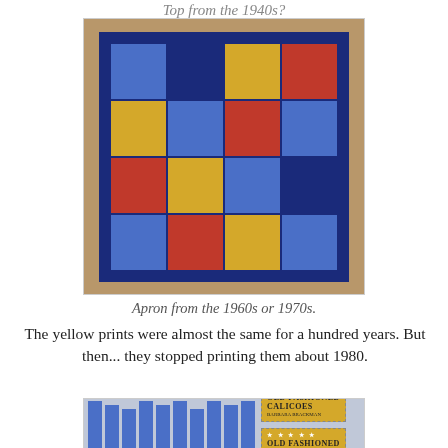Top from the 1940s?
[Figure (photo): A patchwork apron made of blue, red, yellow, and dark navy fabric squares arranged in a quilt pattern, with navy binding strips on the sides.]
Apron from the 1960s or 1970s.
The yellow prints were almost the same for a hundred years. But then... they stopped printing them about 1980.
[Figure (photo): Old Fashioned Calicoes fabric book or selvage labels showing yellow ticket-style labels with blue striped fabric in the background. Labels read 'OLD FASHIONED CALICOES BARBARA BRACKMAN'.]